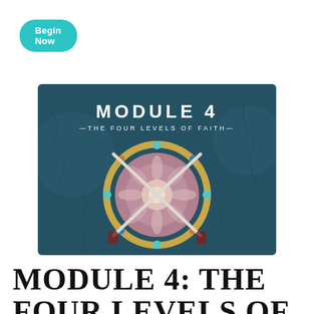Begin Now
[Figure (illustration): Module 4 banner image with text 'MODULE 4 —THE FOUR LEVELS OF FAITH—' and a decorative shield/medallion with crossed swords on a dark teal textured background]
MODULE 4: THE FOUR LEVELS OF